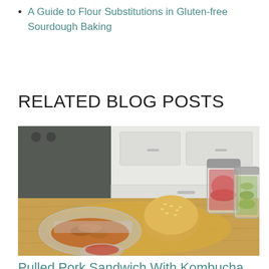A Guide to Flour Substitutions in Gluten-free Sourdough Baking
RELATED BLOG POSTS
[Figure (photo): Kitchen scene on a wooden cutting board: a glass bowl of pulled pork, a sesame seed bun, jars of fermented vegetables (red cabbage/beet, pickles with cucumbers), a small bowl of sauce, in front of a stove and white cabinets.]
Pulled Pork Sandwich With Kombucha Fermented BBQ Sauce on Whole Wheat Sourdough Bun